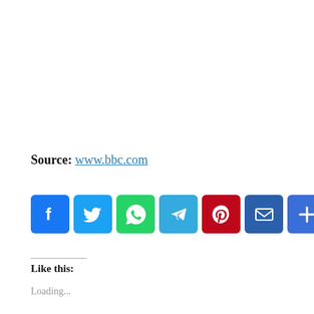Source: www.bbc.com
[Figure (infographic): Row of social media share buttons: Facebook (blue), Twitter (light blue), WhatsApp (green), Telegram (cyan), Pinterest (red), Email (blue), More/Plus (blue)]
Like this:
Loading...